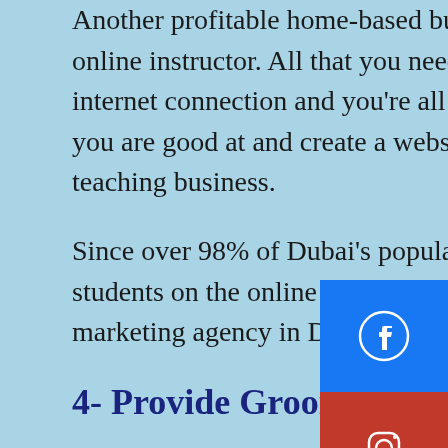Another profitable home-based business idea is to become an online instructor. All that you need is a room and a sound internet connection and you're all set. Next, choose the subject you are good at and create a website to promote your online teaching business.
Since over 98% of Dubai's population are internet users, getting students on the online platforms is easier. Hire a digital marketing agency in Dubai to reach your target audience.
4- Provide Grooming Services At Home
The living standard in Dubai is extremely high. And that's why the residents of Dubai never skip a chance of maintaining high living standards. When getting groomed regularly is part of their daily routine, the scopes for professional beauticians and hairdressers automatically increase.
If you hold a beautician degree or certificate with relevant experience, then start your salon at home. Initially, you can offer...